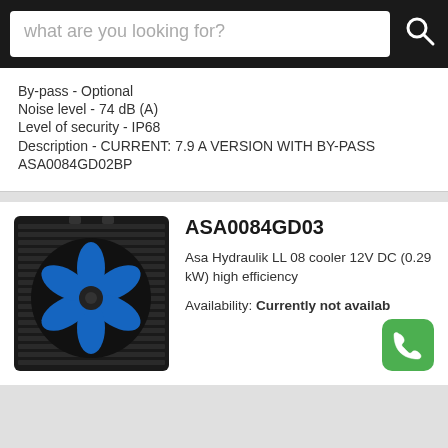what are you looking for?
By-pass - Optional
Noise level - 74 dB (A)
Level of security - IP68
Description - CURRENT: 7.9 A VERSION WITH BY-PASS ASA0084GD02BP
[Figure (photo): Black hydraulic oil cooler with blue fan blades, product photo for ASA0084GD03]
ASA0084GD03
Asa Hydraulik LL 08 cooler 12V DC (0.29 kW) high efficiency
Availability: Currently not available